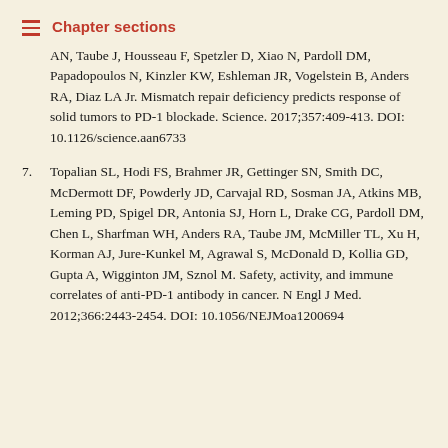Chapter sections
AN, Taube J, Housseau F, Spetzler D, Xiao N, Pardoll DM, Papadopoulos N, Kinzler KW, Eshleman JR, Vogelstein B, Anders RA, Diaz LA Jr. Mismatch repair deficiency predicts response of solid tumors to PD-1 blockade. Science. 2017;357:409-413. DOI: 10.1126/science.aan6733
7. Topalian SL, Hodi FS, Brahmer JR, Gettinger SN, Smith DC, McDermott DF, Powderly JD, Carvajal RD, Sosman JA, Atkins MB, Leming PD, Spigel DR, Antonia SJ, Horn L, Drake CG, Pardoll DM, Chen L, Sharfman WH, Anders RA, Taube JM, McMiller TL, Xu H, Korman AJ, Jure-Kunkel M, Agrawal S, McDonald D, Kollia GD, Gupta A, Wigginton JM, Sznol M. Safety, activity, and immune correlates of anti-PD-1 antibody in cancer. N Engl J Med. 2012;366:2443-2454. DOI: 10.1056/NEJMoa1200694